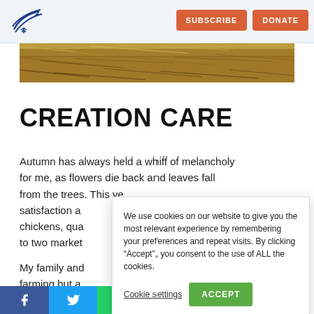SUBSCRIBE | DONATE
[Figure (photo): Close-up photograph of dry hay/straw covering the ground]
CREATION CARE
Autumn has always held a whiff of melancholy for me, as flowers die back and leaves fall from the trees. This ye... satisfaction a... chickens, qua... to two market... My family and... farming but a...
We use cookies on our website to give you the most relevant experience by remembering your preferences and repeat visits. By clicking “Accept”, you consent to the use of ALL the cookies.
Cookie settings | ACCEPT